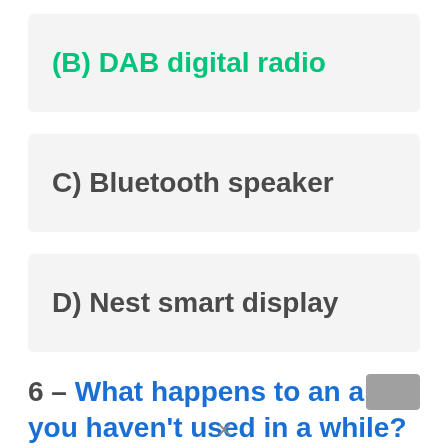(B) DAB digital radio
C) Bluetooth speaker
D) Nest smart display
6 – What happens to an app you haven't used in a while?